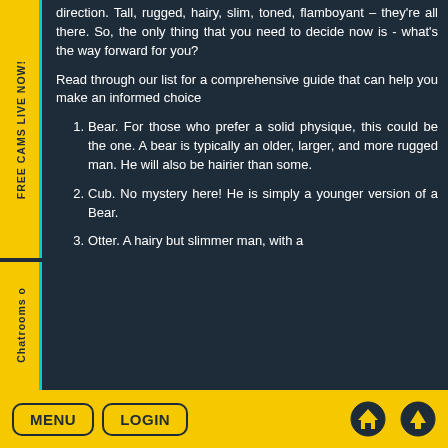FREE CAMS LIVE NOW!
direction. Tall, rugged, hairy, slim, toned, flamboyant – they're all there. So, the only thing that you need to decide now is - what's the way forward for you?
Read through our list for a comprehensive guide that can help you make an informed choice
Bear. For those who prefer a solid physique, this could be the one. A bear is typically an older, larger, and more rugged man. He will also be hairier than some.
Cub. No mystery here! He is simply a younger version of a Bear.
Otter. A hairy but slimmer man, with a
MENU  LOGIN  [home icon] [up icon]
Chatrooms o